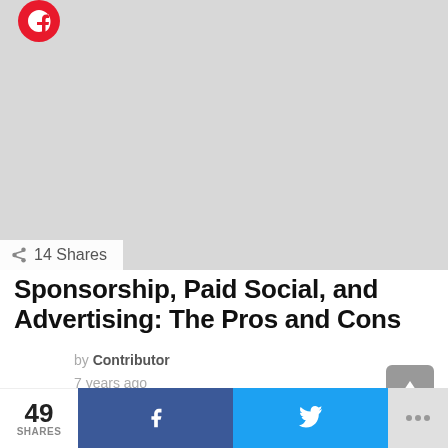[Figure (photo): Large light gray placeholder image area with a red circular logo/icon in the top-left corner]
14 Shares
Sponsorship, Paid Social, and Advertising: The Pros and Cons
by Contributor
7 years ago
49 SHARES | Facebook share | Twitter share | more options